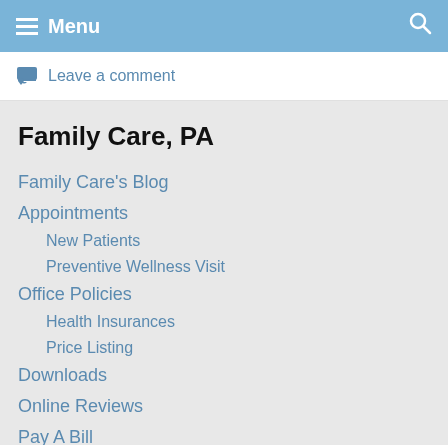Menu
Leave a comment
Family Care, PA
Family Care's Blog
Appointments
New Patients
Preventive Wellness Visit
Office Policies
Health Insurances
Price Listing
Downloads
Online Reviews
Pay A Bill